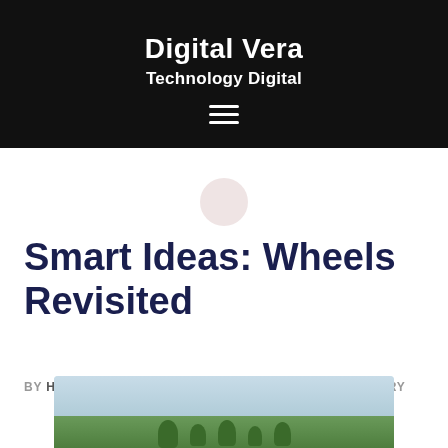Digital Vera
Technology Digital
Smart Ideas: Wheels Revisited
BY HAROLD • JANUARY 17, 2019 • FOODS & CULINARY
[Figure (photo): Outdoor photo showing trees and sky, partially visible at the bottom of the page]